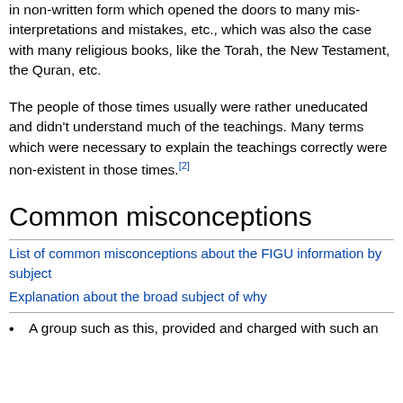in non-written form which opened the doors to many mis-interpretations and mistakes, etc., which was also the case with many religious books, like the Torah, the New Testament, the Quran, etc.
The people of those times usually were rather uneducated and didn't understand much of the teachings. Many terms which were necessary to explain the teachings correctly were non-existent in those times.[2]
Common misconceptions
List of common misconceptions about the FIGU information by subject
Explanation about the broad subject of why
A group such as this, provided and charged with such an